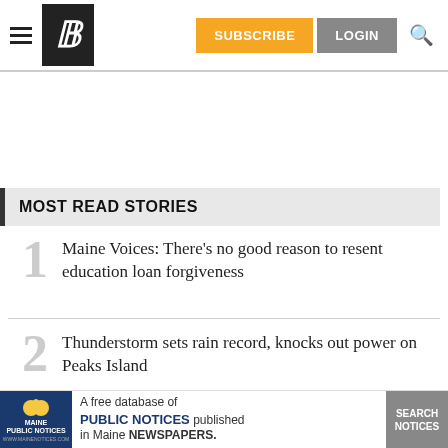SUBSCRIBE LOGIN
MOST READ STORIES
Maine Voices: There's no good reason to resent education loan forgiveness
Thunderstorm sets rain record, knocks out power on Peaks Island
As surveillance of white sharks increases,
[Figure (other): Maine Public Notices advertisement banner: A free database of PUBLIC NOTICES published in Maine NEWSPAPERS.]